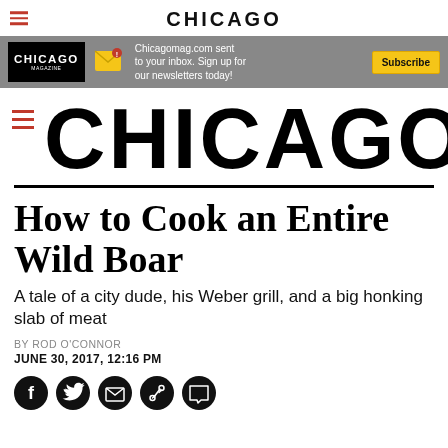CHICAGO
[Figure (screenshot): Chicago Magazine ad banner: newsletter subscription advertisement with Chicago Magazine logo, envelope icon, text 'Chicagomag.com sent to your inbox. Sign up for our newsletters today!' and a Subscribe button]
CHICAGO
How to Cook an Entire Wild Boar
A tale of a city dude, his Weber grill, and a big honking slab of meat
BY ROD O'CONNOR
JUNE 30, 2017, 12:16 PM
[Figure (infographic): Social sharing icons row: Facebook, Twitter, Email, Link/share, Comment icons]